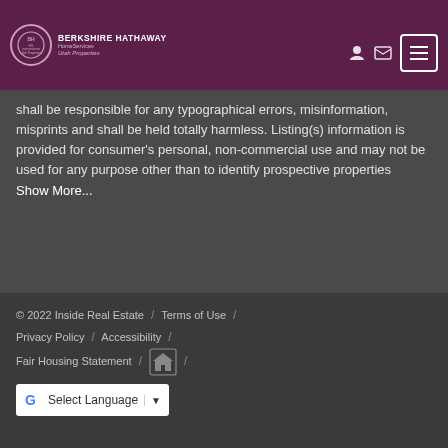Berkshire Hathaway HomeServices Utah Properties
shall be responsible for any typographical errors, misinformation, misprints and shall be held totally harmless. Listing(s) information is provided for consumer's personal, non-commercial use and may not be used for any purpose other than to identify prospective properties   Show More...
© 2022 Inside Real Estate / Terms of Use / Privacy Policy / Accessibility / Fair Housing Statement / [Fair Housing Logo] / Select Language ▼